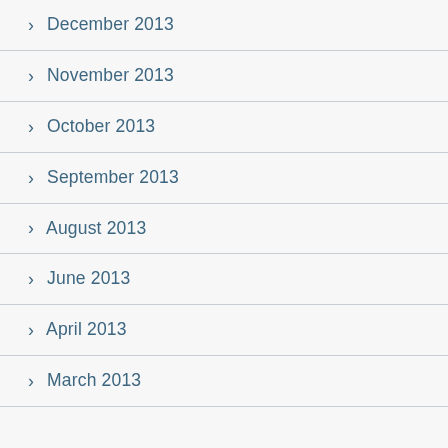> December 2013
> November 2013
> October 2013
> September 2013
> August 2013
> June 2013
> April 2013
> March 2013